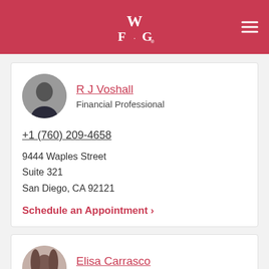WFG
R J Voshall
Financial Professional
+1 (760) 209-4658
9444 Waples Street
Suite 321
San Diego, CA 92121
Schedule an Appointment ›
Elisa Carrasco
Financial Professional